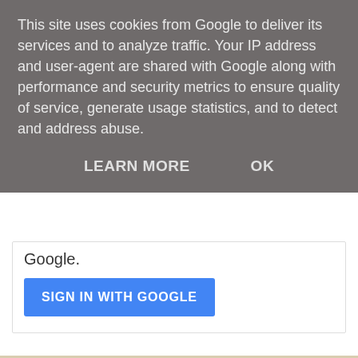This site uses cookies from Google to deliver its services and to analyze traffic. Your IP address and user-agent are shared with Google along with performance and security metrics to ensure quality of service, generate usage statistics, and to detect and address abuse.
LEARN MORE   OK
Google.
[Figure (screenshot): Blue 'SIGN IN WITH GOOGLE' button]
[Figure (screenshot): Navigation bar with left arrow, Home button, and right arrow]
View web version
[Figure (screenshot): Dark maroon/red footer area]